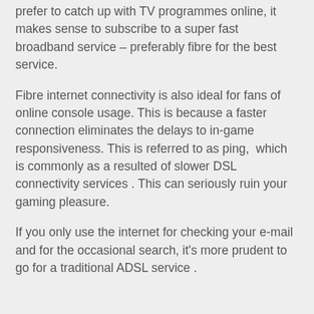prefer to catch up with TV programmes online, it makes sense to subscribe to a super fast broadband service – preferably fibre for the best service.
Fibre internet connectivity is also ideal for fans of online console usage. This is because a faster connection eliminates the delays to in-game responsiveness. This is referred to as ping,  which is commonly as a resulted of slower DSL connectivity services . This can seriously ruin your gaming pleasure.
If you only use the internet for checking your e-mail and for the occasional search, it's more prudent to go for a traditional ADSL service .